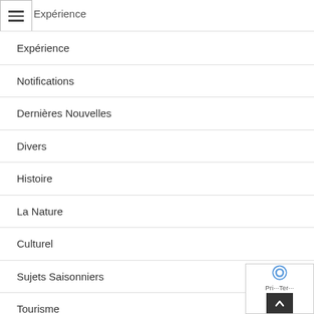[Figure (other): Hamburger menu icon (three horizontal lines) in a bordered square box]
Expérience
Notifications
Dernières Nouvelles
Divers
Histoire
La Nature
Culturel
Sujets Saisonniers
Tourisme
Activités Extérieures
[Figure (other): reCAPTCHA widget and scroll-to-top button overlay in bottom right corner]